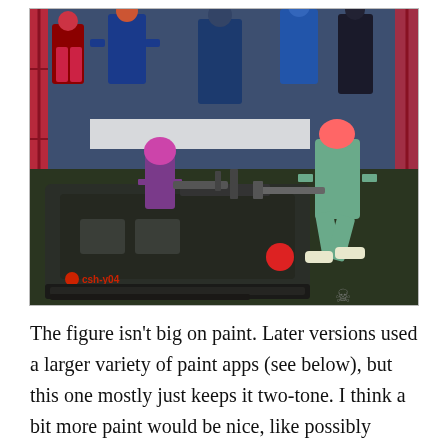[Figure (photo): Action figures (G.I. Joe style) posed on a toy vehicle/tank labeled 'csh-y04' with a red logo. Multiple figures in various colors arranged in a battle scene with scaffolding backdrop.]
The figure isn't big on paint. Later versions used a larger variety of paint apps (see below), but this one mostly just keeps it two-tone. I think a bit more paint would be nice, like possibly some dark grey or silver for some of the areas. Something for my eyes to land on if